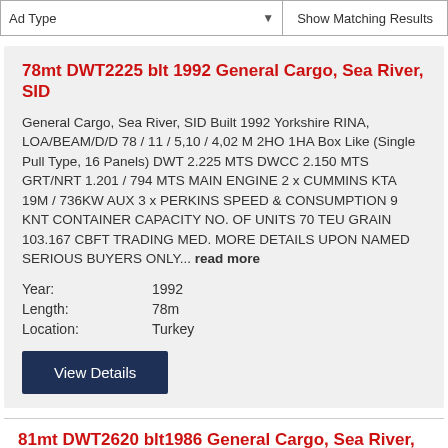Ad Type  Show Matching Results
78mt DWT2225 blt 1992 General Cargo, Sea River, SID
General Cargo, Sea River, SID Built 1992 Yorkshire RINA, LOA/BEAM/D/D 78 / 11 / 5,10 / 4,02 M 2HO 1HA Box Like (Single Pull Type, 16 Panels) DWT 2.225 MTS DWCC 2.150 MTS GRT/NRT 1.201 / 794 MTS MAIN ENGINE 2 x CUMMINS KTA 19M / 736KW AUX 3 x PERKINS SPEED & CONSUMPTION 9 KNT CONTAINER CAPACITY NO. OF UNITS 70 TEU GRAIN 103.167 CBFT TRADING MED. MORE DETAILS UPON NAMED SERIOUS BUYERS ONLY... read more
Year: 1992
Length: 78m
Location: Turkey
View Details
81mt DWT2620 blt1986 General Cargo, Sea River, SID